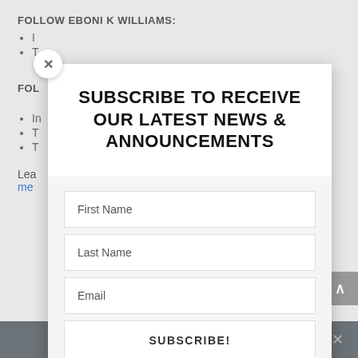FOLLOW EBONI K WILLIAMS:
I
T
FOL
In
T
T
Lea
me
[Figure (screenshot): Modal popup with close (X) button, title 'SUBSCRIBE TO RECEIVE OUR LATEST NEWS & ANNOUNCEMENTS', form fields for First Name, Last Name, Email, and a SUBSCRIBE! button]
Share This ∨  ×